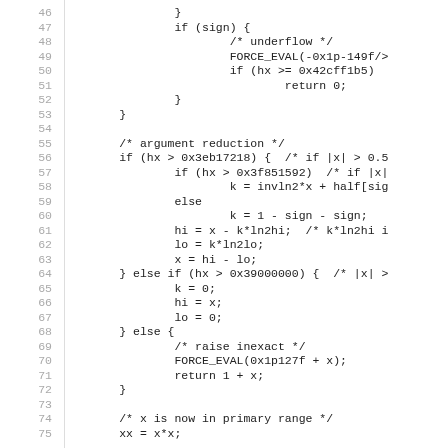Code listing lines 46-75: C source code for argument reduction in a math library function (expm1f or similar)